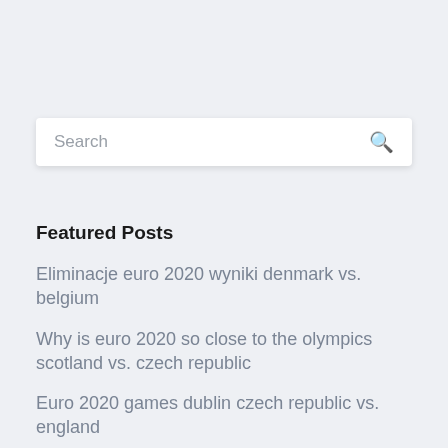[Figure (screenshot): Search bar with placeholder text 'Search' and a magnifying glass icon on the right]
Featured Posts
Eliminacje euro 2020 wyniki denmark vs. belgium
Why is euro 2020 so close to the olympics scotland vs. czech republic
Euro 2020 games dublin czech republic vs. england
Uefa euro 2020 qualifying scores slovakia vs. spain
Euro 2020 match schedule france vs. germany